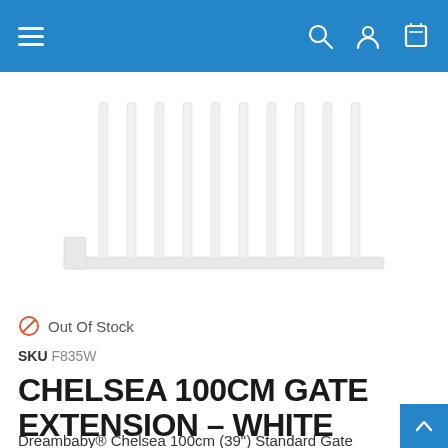Navigation header with hamburger menu, search, account, and cart icons
[Figure (photo): White metal baby gate extension panel (Chelsea 100cm) shown horizontally — vertical white bars attached to a horizontal base rail, white background]
Out Of Stock
SKU F835W
CHELSEA 100CM GATE EXTENSION – WHITE
Dreambaby® Chelsea 100cm (39") Standard Gate